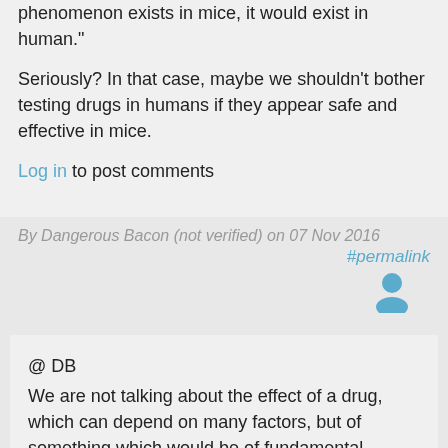phenomenon exists in mice, it would exist in human."
Seriously? In that case, maybe we shouldn't bother testing drugs in humans if they appear safe and effective in mice.
Log in to post comments
By Dangerous Bacon (not verified) on 07 Nov 2016
#permalink
[Figure (illustration): User avatar icon in blue/teal color]
@ DB
We are not talking about the effect of a drug, which can depend on many factors, but of something which would be of fundamental interest, inheritance of acquired characteristics.You don't need to make experiments in humans to understand that Darwin's theory is also true for humans.